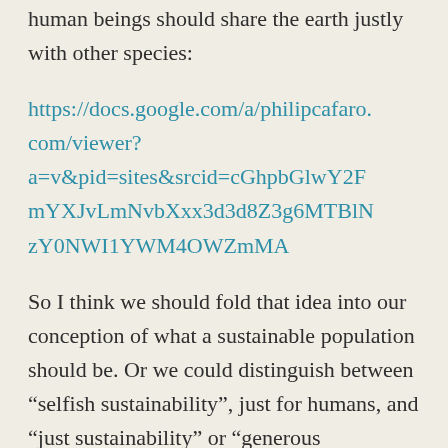human beings should share the earth justly with other species:
https://docs.google.com/a/philipcafaro.com/viewer?a=v&pid=sites&srcid=cGhpbGlwY2FmYXJvLmNvbXxx3d3d8Z3g6MTBlNzY0NWI1YWM4OWZmMA
So I think we should fold that idea into our conception of what a sustainable population should be. Or we could distinguish between “selfish sustainability”, just for humans, and “just sustainability” or “generous sustainability,” where we calculated